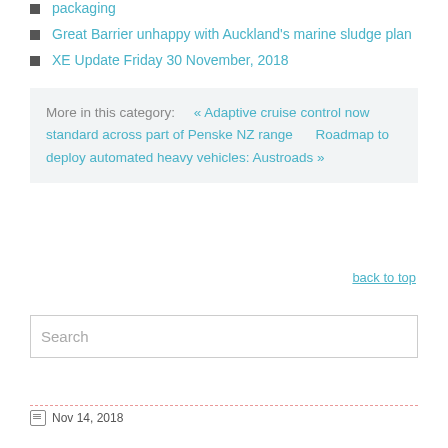packaging
Great Barrier unhappy with Auckland's marine sludge plan
XE Update Friday 30 November, 2018
More in this category:    « Adaptive cruise control now standard across part of Penske NZ range      Roadmap to deploy automated heavy vehicles: Austroads »
back to top
Search
Nov 14, 2018